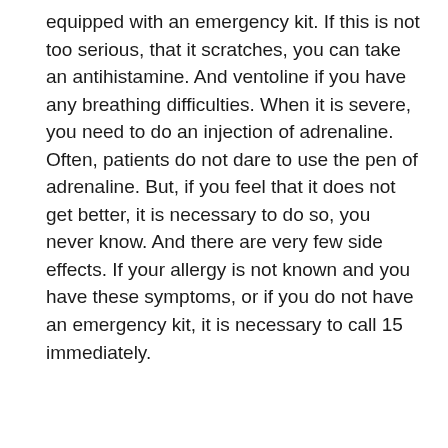equipped with an emergency kit. If this is not too serious, that it scratches, you can take an antihistamine. And ventoline if you have any breathing difficulties. When it is severe, you need to do an injection of adrenaline. Often, patients do not dare to use the pen of adrenaline. But, if you feel that it does not get better, it is necessary to do so, you never know. And there are very few side effects. If your allergy is not known and you have these symptoms, or if you do not have an emergency kit, it is necessary to call 15 immediately.